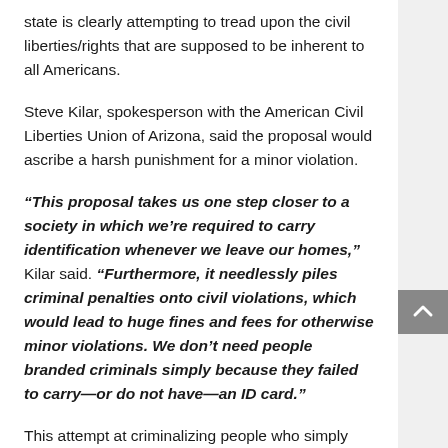state is clearly attempting to tread upon the civil liberties/rights that are supposed to be inherent to all Americans.
Steve Kilar, spokesperson with the American Civil Liberties Union of Arizona, said the proposal would ascribe a harsh punishment for a minor violation.
“This proposal takes us one step closer to a society in which we’re required to carry identification whenever we leave our homes,” Kilar said. “Furthermore, it needlessly piles criminal penalties onto civil violations, which would lead to huge fines and fees for otherwise minor violations. We don’t need people branded criminals simply because they failed to carry—or do not have—an ID card.”
This attempt at criminalizing people who simply don’t carry, or have, an ID is an unmistakable example of the